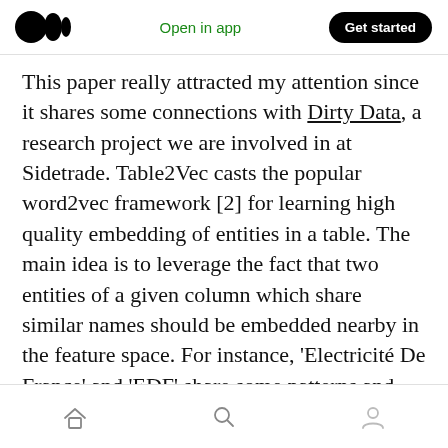Medium app header — Open in app | Get started
This paper really attracted my attention since it shares some connections with Dirty Data, a research project we are involved in at Sidetrade. Table2Vec casts the popular word2vec framework [2] for learning high quality embedding of entities in a table. The main idea is to leverage the fact that two entities of a given column which share similar names should be embedded nearby in the feature space. For instance, 'Electricité De France' and 'EDF' share some patterns and should not be embedded in remote regions of the space.
Bottom navigation bar — Home | Search | Profile